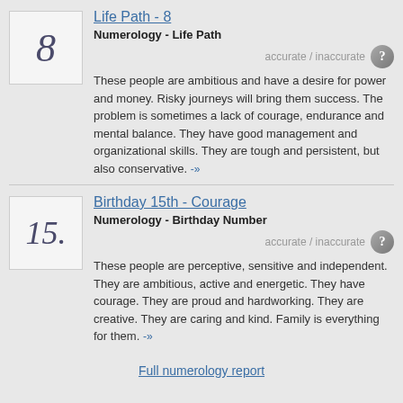Life Path - 8
Numerology - Life Path
These people are ambitious and have a desire for power and money. Risky journeys will bring them success. The problem is sometimes a lack of courage, endurance and mental balance. They have good management and organizational skills. They are tough and persistent, but also conservative. -»
Birthday 15th - Courage
Numerology - Birthday Number
These people are perceptive, sensitive and independent. They are ambitious, active and energetic. They have courage. They are proud and hardworking. They are creative. They are caring and kind. Family is everything for them. -»
Full numerology report